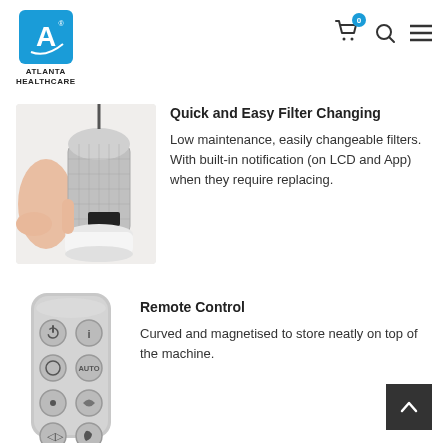Atlanta Healthcare — navigation header with logo, cart, search, menu icons
Quick and Easy Filter Changing
[Figure (photo): Person removing cylindrical HEPA filter from Dyson air purifier]
Low maintenance, easily changeable filters. With built-in notification (on LCD and App) when they require replacing.
Remote Control
[Figure (photo): Dyson remote control with circular buttons: power, info, auto, oscillation, airflow, night mode]
Curved and magnetised to store neatly on top of the machine.